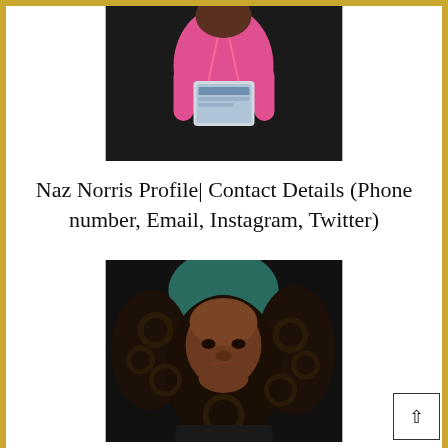[Figure (photo): Person wearing pink long-sleeve shirt holding a tablet/iPad, dark background, upper body cropped]
Naz Norris Profile| Contact Details (Phone number, Email, Instagram, Twitter)
[Figure (photo): Close-up portrait of a young woman with curly dark hair with teal highlights, looking downward slightly, dark background]